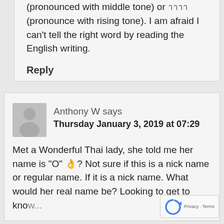(pronounced with middle tone) or (pronounce with rising tone). I am afraid I can't tell the right word by reading the English writing.
Reply
Anthony W says
Thursday January 3, 2019 at 07:29
Met a Wonderful Thai lady, she told me her name is "O" 👌? Not sure if this is a nick name or regular name. If it is a nick name. What would her real name be? Looking to get to know...